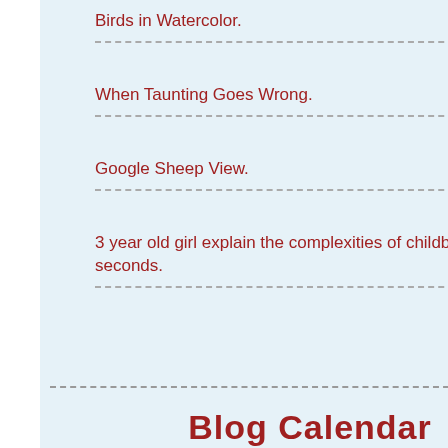Birds in Watercolor.
When Taunting Goes Wrong.
Google Sheep View.
3 year old girl explain the complexities of childbirth in 4 seconds.
Blog Calendar
AUGUST 2022
| M | T | W | T | F | S | S |
| --- | --- | --- | --- | --- | --- | --- |
| 1 | 2 | 3 | 4 | 5 | 6 |
| 8 | 9 | 10 | 11 | 12 | 13 | 14 |
| 15 | 16 | 17 | 18 | 19 | 20 | 21 |